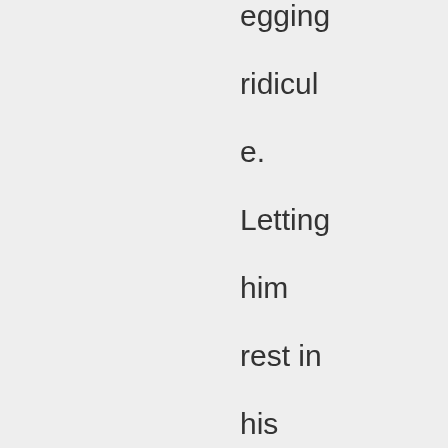egging ridicule. Letting him rest in his own world is the only response. Joeam, Chit and I